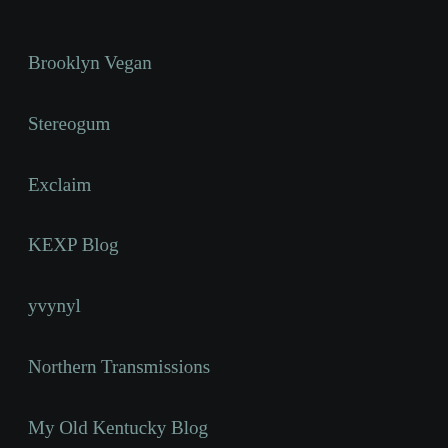Brooklyn Vegan
Stereogum
Exclaim
KEXP Blog
yvynyl
Northern Transmissions
My Old Kentucky Blog
Muso Japan
Consequence of Sound
Obscure Sound